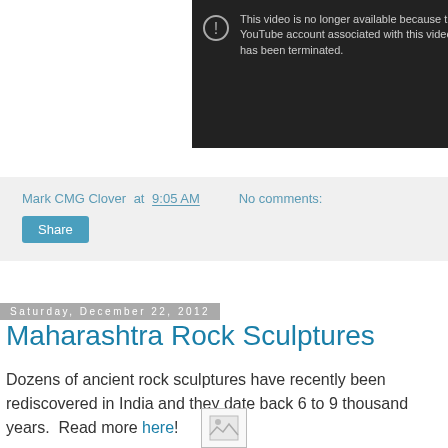[Figure (screenshot): YouTube video unavailable error screen showing a circle with exclamation mark icon and text: 'This video is no longer available because the YouTube account associated with this video has been terminated.' A YouTube play button icon is in the bottom right corner.]
Mark CMG Clover at 9:05 AM    No comments:
Share
Saturday, December 22, 2012
Maharashtra Rock Sculptures
Dozens of ancient rock sculptures have recently been rediscovered in India and they date back 6 to 9 thousand years.  Read more here!
[Figure (photo): Small broken/placeholder image thumbnail]